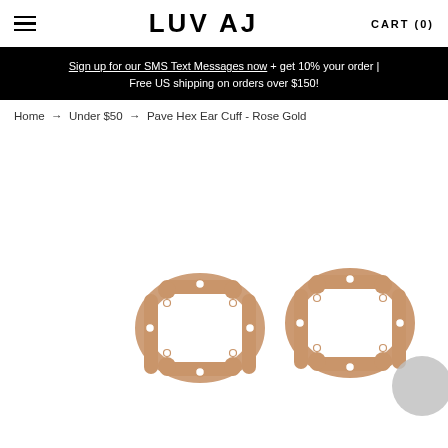LUV AJ  CART (0)
Sign up for our SMS Text Messages now + get 10% your order | Free US shipping on orders over $150!
Home → Under $50 → Pave Hex Ear Cuff - Rose Gold
[Figure (photo): Two rose gold hexagonal pave ear cuffs with crystal embellishments, shown side by side on a white background.]